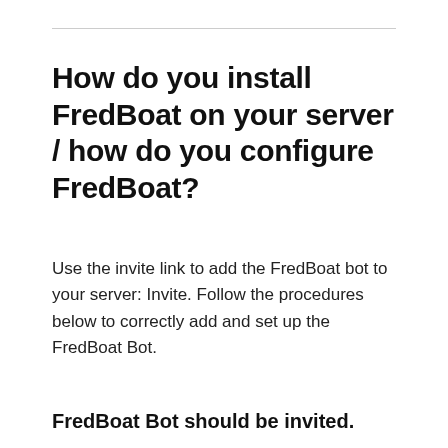How do you install FredBoat on your server / how do you configure FredBoat?
Use the invite link to add the FredBoat bot to your server: Invite. Follow the procedures below to correctly add and set up the FredBoat Bot.
FredBoat Bot should be invited.